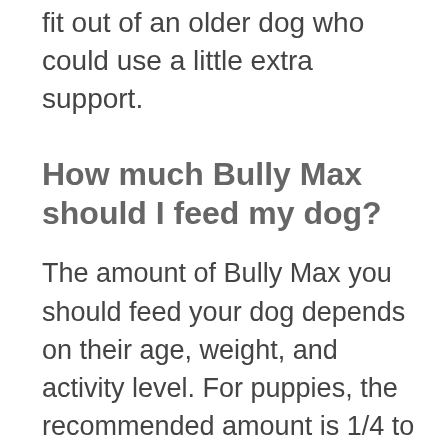fit out of an older dog who could use a little extra support.
How much Bully Max should I feed my dog?
The amount of Bully Max you should feed your dog depends on their age, weight, and activity level. For puppies, the recommended amount is 1/4 to 1 cup per day, depending on their size. The recommended amount for adult dogs is 1 to 2 cups per day, depending on their size. And for active dogs, the recommended amount is 2 to 4 cups